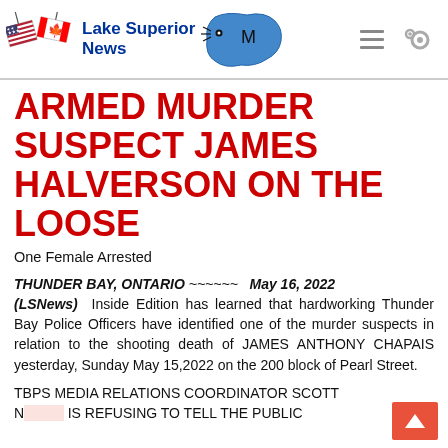Lake Superior News
ARMED MURDER SUSPECT JAMES HALVERSON ON THE LOOSE
One Female Arrested
THUNDER BAY, ONTARIO ~~~~~~ May 16, 2022 (LSNews) Inside Edition has learned that hardworking Thunder Bay Police Officers have identified one of the murder suspects in relation to the shooting death of JAMES ANTHONY CHAPAIS yesterday, Sunday May 15,2022 on the 200 block of Pearl Street.
TBPS MEDIA RELATIONS COORDINATOR SCOTT [NAME] IS REFUSING TO TELL THE PUBLIC